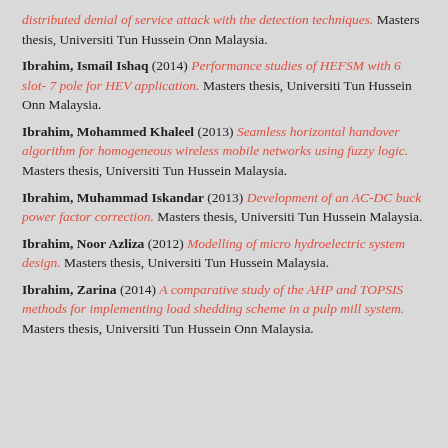distributed denial of service attack with the detection techniques. Masters thesis, Universiti Tun Hussein Onn Malaysia.
Ibrahim, Ismail Ishaq (2014) Performance studies of HEFSM with 6 slot- 7 pole for HEV application. Masters thesis, Universiti Tun Hussein Onn Malaysia.
Ibrahim, Mohammed Khaleel (2013) Seamless horizontal handover algorithm for homogeneous wireless mobile networks using fuzzy logic. Masters thesis, Universiti Tun Hussein Malaysia.
Ibrahim, Muhammad Iskandar (2013) Development of an AC-DC buck power factor correction. Masters thesis, Universiti Tun Hussein Malaysia.
Ibrahim, Noor Azliza (2012) Modelling of micro hydroelectric system design. Masters thesis, Universiti Tun Hussein Malaysia.
Ibrahim, Zarina (2014) A comparative study of the AHP and TOPSIS methods for implementing load shedding scheme in a pulp mill system. Masters thesis, Universiti Tun Hussein Onn Malaysia.